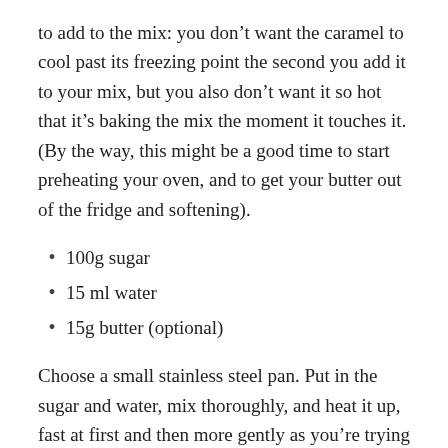to add to the mix: you don’t want the caramel to cool past its freezing point the second you add it to your mix, but you also don’t want it so hot that it’s baking the mix the moment it touches it. (By the way, this might be a good time to start preheating your oven, and to get your butter out of the fridge and softening).
100g sugar
15 ml water
15g butter (optional)
Choose a small stainless steel pan. Put in the sugar and water, mix thoroughly, and heat it up, fast at first and then more gently as you’re trying to find the right caramelisation point. It’s going to bubble furiously, but keep stirring it and you’ll eventually get to a point (around 175-180°C, if you have a sugar thermometer) where it turns caramel. Take it off the heat and add the